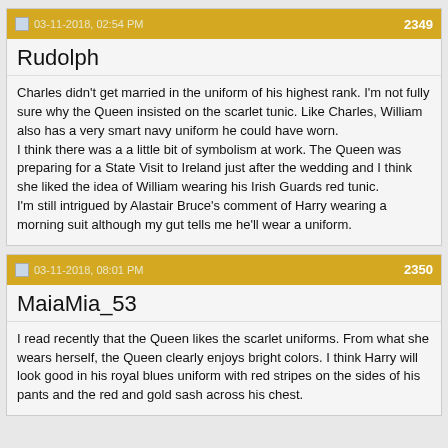03-11-2018, 02:54 PM | 2349
Rudolph
Charles didn't get married in the uniform of his highest rank. I'm not fully sure why the Queen insisted on the scarlet tunic. Like Charles, William also has a very smart navy uniform he could have worn.
I think there was a a little bit of symbolism at work. The Queen was preparing for a State Visit to Ireland just after the wedding and I think she liked the idea of William wearing his Irish Guards red tunic.
I'm still intrigued by Alastair Bruce's comment of Harry wearing a morning suit although my gut tells me he'll wear a uniform.
03-11-2018, 08:01 PM | 2350
MaiaMia_53
I read recently that the Queen likes the scarlet uniforms. From what she wears herself, the Queen clearly enjoys bright colors. I think Harry will look good in his royal blues uniform with red stripes on the sides of his pants and the red and gold sash across his chest.